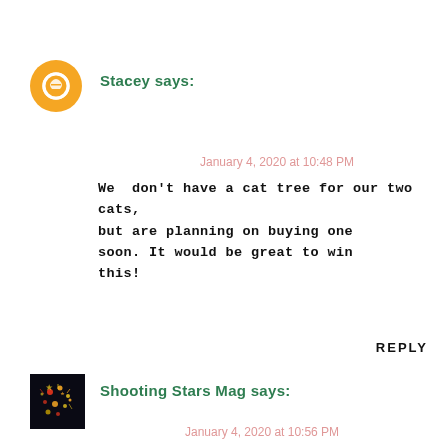Stacey says:
January 4, 2020 at 10:48 PM
We  don't have a cat tree for our two cats, but are planning on buying one soon. It would be great to win this!
REPLY
Shooting Stars Mag says:
January 4, 2020 at 10:56 PM
Ooh  I would love this for my cat, Charlie! He'd be so happy for one.